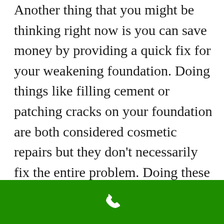Another thing that you might be thinking right now is you can save money by providing a quick fix for your weakening foundation. Doing things like filling cement or patching cracks on your foundation are both considered cosmetic repairs but they don't necessarily fix the entire problem. Doing these kinds of repair only provide temporary fix. Sooner or later, you will have to do a more permanent restoration. As I've said before, it is better to get the foundation fixed
[Figure (other): Green footer bar with a white phone/call icon centered]